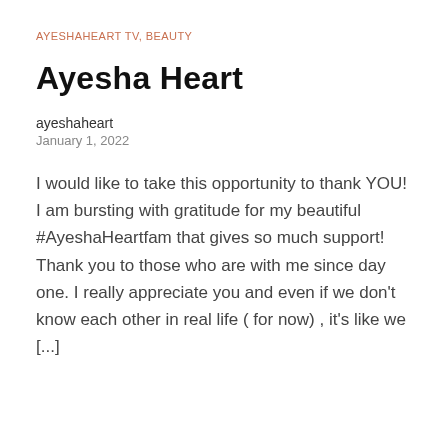AYESHAHEART TV, BEAUTY
Ayesha Heart
ayeshaheart
January 1, 2022
I would like to take this opportunity to thank YOU! I am bursting with gratitude for my beautiful #AyeshaHeartfam that gives so much support! Thank you to those who are with me since day one. I really appreciate you and even if we don't know each other in real life ( for now) , it's like we [...]